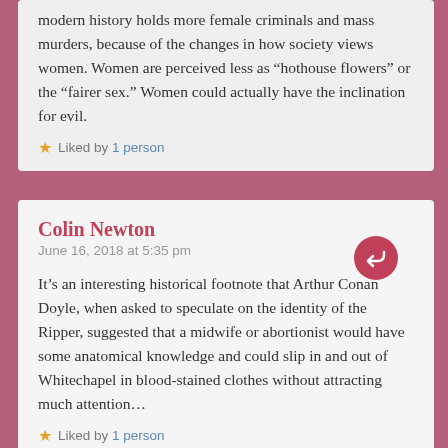modern history holds more female criminals and mass murders, because of the changes in how society views women. Women are perceived less as “hothouse flowers” or the “fairer sex.” Women could actually have the inclination for evil.
Liked by 1 person
Colin Newton
June 16, 2018 at 5:35 pm
It’s an interesting historical footnote that Arthur Conan Doyle, when asked to speculate on the identity of the Ripper, suggested that a midwife or abortionist would have some anatomical knowledge and could slip in and out of Whitechapel in blood-stained clothes without attracting much attention…
Liked by 1 person